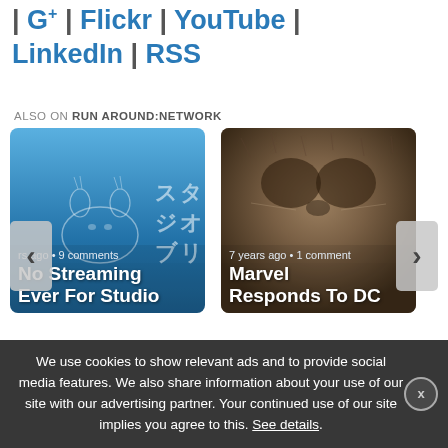G+ | Flickr | YouTube | LinkedIn | RSS
ALSO ON RUN AROUND:NETWORK
[Figure (screenshot): Card thumbnail showing Studio Ghibli artwork on blue gradient background with text 'No Streaming Ever For Studio'. Meta: 'rs ago • 9 comments']
[Figure (photo): Card thumbnail showing close-up of raccoon fur/face with text 'Marvel Responds To DC'. Meta: '7 years ago • 1 comment']
We use cookies to show relevant ads and to provide social media features. We also share information about your use of our site with our advertising partner. Your continued use of our site implies you agree to this. See details.